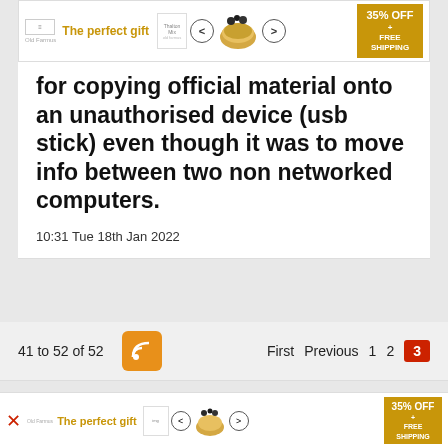[Figure (other): Advertisement banner: 'The perfect gift' with bowl image, navigation arrows, and '35% OFF + FREE SHIPPING' offer box]
individuals doesn't find result in an office... people...sal
for copying official material onto an unauthorised device (usb stick) even though it was to move info between two non networked computers.
10:31 Tue 18th Jan 2022
41 to 52 of 52   First  Previous  1  2  3
52
[Figure (other): Advertisement banner at bottom: 'The perfect gift' with bowl image, navigation arrows, and '35% OFF + FREE SHIPPING' offer box]